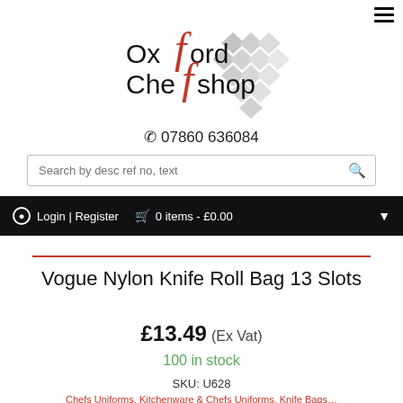[Figure (logo): Oxford Chefshop logo with grey diamond/rhombus pattern and red stylized letter f]
☎ 07860 636084
Search by desc ref no, text
Login | Register   0 items - £0.00
Vogue Nylon Knife Roll Bag 13 Slots
£13.49 (Ex Vat)
100 in stock
SKU: U628
Chefs Uniforms, Kitchenware & Chefs Uniforms, Knife Bags…